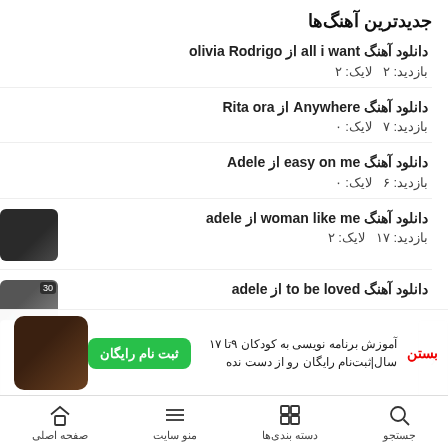جدیدترین آهنگ‌ها
دانلود آهنگ all i want از olivia Rodrigo
بازدید: ۲  لایک: ۲
دانلود آهنگ Anywhere از Rita ora
بازدید: ۷  لایک: ۰
دانلود آهنگ easy on me از Adele
بازدید: ۶  لایک: ۰
دانلود آهنگ woman like me از adele
بازدید: ۱۷  لایک: ۲
دانلود آهنگ to be loved از adele
آموزش برنامه نویسی به کودکان ۹تا ۱۷ سال|ثبت‌نام رایگان رو از دست نده
صفحه اصلی  منو سایت  دسته بندی‌ها  جستجو